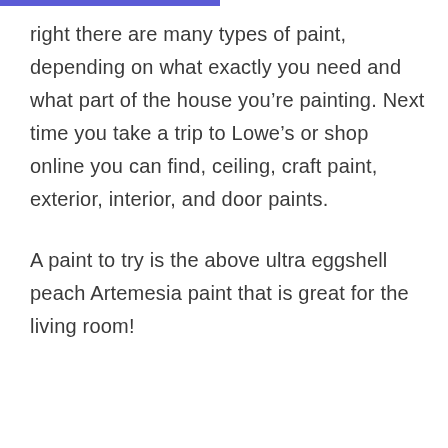right there are many types of paint, depending on what exactly you need and what part of the house you’re painting. Next time you take a trip to Lowe’s or shop online you can find, ceiling, craft paint, exterior, interior, and door paints.
A paint to try is the above ultra eggshell peach Artemesia paint that is great for the living room!